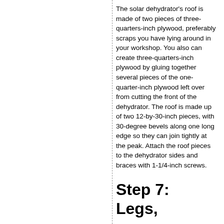The solar dehydrator's roof is made of two pieces of three-quarters-inch plywood, preferably scraps you have lying around in your workshop. You also can create three-quarters-inch plywood by gluing together several pieces of the one-quarter-inch plywood left over from cutting the front of the dehydrator. The roof is made up of two 12-by-30-inch pieces, with 30-degree bevels along one long edge so they can join tightly at the peak. Attach the roof pieces to the dehydrator sides and braces with 1-1/4-inch screws.
Step 7: Legs,